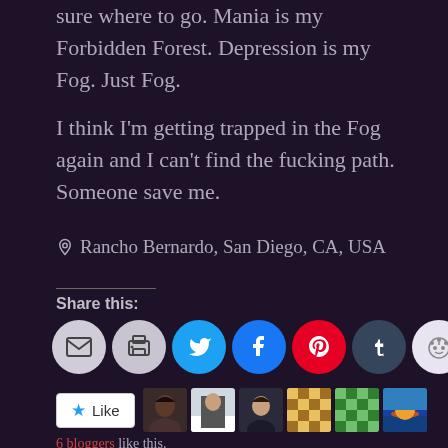sure where to go. Mania is my Forbidden Forest. Depression is my Fog. Just Fog.
I think I'm getting trapped in the Fog again and I can't find the fucking path. Someone save me.
📍 Rancho Bernardo, San Diego, CA, USA
Share this:
[Figure (other): Social sharing icons: email, print, Twitter, Facebook, Pinterest, Tumblr, Reddit]
[Figure (other): Like button and 6 blogger avatars]
6 bloggers like this.
Related
Consumed By Fire: How I
Featured Blogger: Charlotte